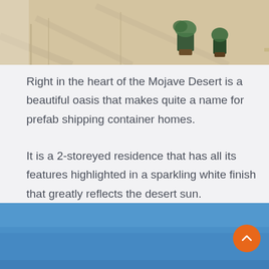[Figure (photo): Top portion of a photo showing an outdoor patio/terrace area with desert landscaping, potted plants, and a light blue wall or panel on the right side. The scene is lit by bright sunlight.]
Right in the heart of the Mojave Desert is a beautiful oasis that makes quite a name for prefab shipping container homes.
It is a 2-storeyed residence that has all its features highlighted in a sparkling white finish that greatly reflects the desert sun.
[Figure (photo): Bottom portion of a photo showing a blue sky, the start of a building or structure.]